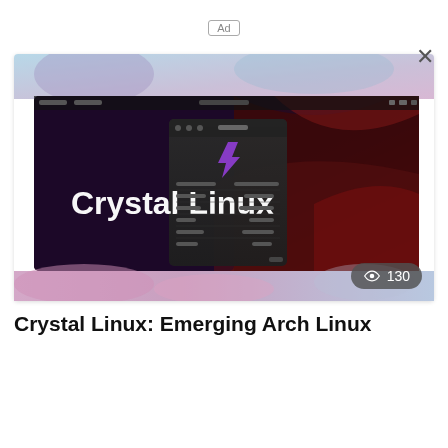Ad
[Figure (screenshot): Thumbnail image of Crystal Linux desktop with a settings dialog open showing a purple Crystal Linux logo bolt icon, text 'Crystal Linux' in white bold on a dark purple/red gradient background. A view count badge shows an eye icon and '130'.]
Crystal Linux: Emerging Arch Linux